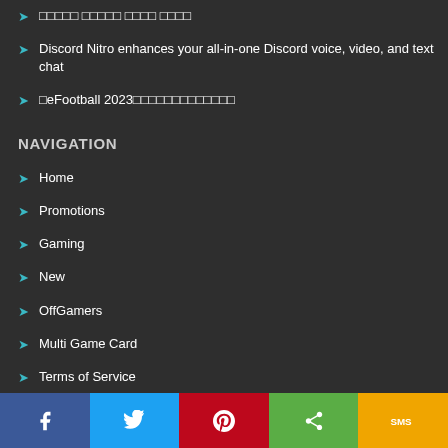░░░░░ ░░░░░ ░░░░ ░░░░
Discord Nitro enhances your all-in-one Discord voice, video, and text chat
░eFootball 2023░░░░░░░░░░░░░░░░░
NAVIGATION
Home
Promotions
Gaming
New
OffGamers
Multi Game Card
Terms of Service
Copyright © 2022 OffGamers. All rights reserved. All product names are trademarks of their respective companies.